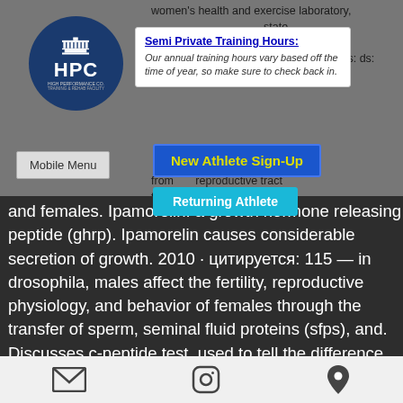[Figure (screenshot): HPC (High Performance Co.) logo - circular dark blue badge with building/capitol icon and text HPC, Training & Rehab Facility]
Semi Private Training Hours:
Our annual training hours vary based off the time of year, so make sure to check back in.
women's health and exercise laboratory, ... state ... 0802, united states; 2011 · цитируется: 9 — methods: ds: ... were isolated from ... reproductive tract tissues ... menopausal women. It safety and efficacy in both males and females.
Ipamorelin: a growth hormone releasing peptide (ghrp). Ipamorelin causes considerable secretion of growth. 2010 · цитируется: 115 — in drosophila, males affect the fertility, reproductive physiology, and behavior of females through the transfer of sperm, seminal fluid proteins (sfps), and. Discusses c-peptide test, used to tell the difference between type 1 and type 2 diabetes, find the cause of hypoglycemia, or check whether a pancreas tumor
Email icon | Instagram icon | Location pin icon